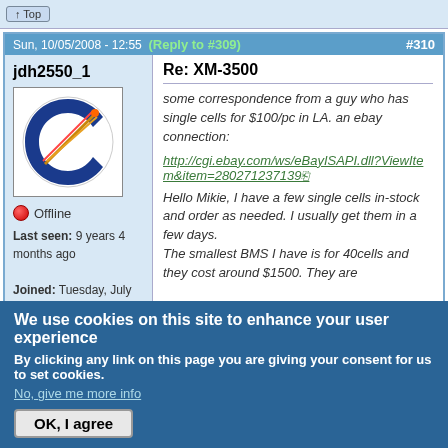Top
Sun, 10/05/2008 - 12:55  (Reply to #309)  #310
Re: XM-3500
jdh2550_1
[Figure (photo): User avatar showing a dark circular logo with a comet or arrow graphic]
Offline
Last seen: 9 years 4 months ago
Joined: Tuesday, July 17, 2007 - 09:35
Points: 2335
some correspondence from a guy who has single cells for $100/pc in LA. an ebay connection:
http://cgi.ebay.com/ws/eBayISAPI.dll?ViewItem&item=280271237139
Hello Mikie, I have a few single cells in-stock and order as needed. I usually get them in a few days.
The smallest BMS I have is for 40cells and they cost around $1500. They are
We use cookies on this site to enhance your user experience
By clicking any link on this page you are giving your consent for us to set cookies.
No, give me more info
OK, I agree